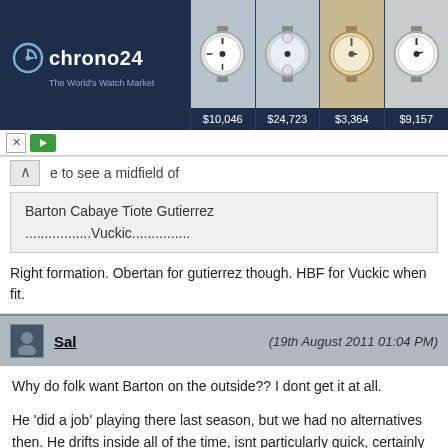[Figure (infographic): Chrono24 watch advertisement banner showing logo and four luxury watches with prices: $10,046, $24,723, $3,364, $9,157]
e to see a midfield of
Barton Cabaye Tiote Gutierrez
.................Vuckic...............
Right formation. Obertan for gutierrez though. HBF for Vuckic when fit.
Sal (19th August 2011 01:04 PM)
Why do folk want Barton on the outside?? I dont get it at all.

He 'did a job' playing there last season, but we had no alternatives then. He drifts inside all of the time, isnt particularly quick, certainly doesnt go past a man frequently and generally leaves the side quite lopsided.

If we played both Obertan & Jonas on either flank, we would have a lot more balance and dare I say a genuine threat on both sides of the pitch, with plenty of pace to break with.

Stick Barton through the middle where he can fight it out and support the forwards and the defence, if it means leaving Cabaye out then so